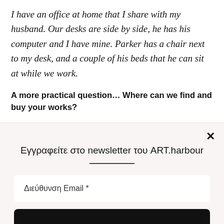I have an office at home that I share with my husband. Our desks are side by side, he has his computer and I have mine. Parker has a chair next to my desk, and a couple of his beds that he can sit at while we work.
A more practical question… Where can we find and buy your works?
Εγγραφείτε στο newsletter του ART.harbour
Διεύθυνση Email *